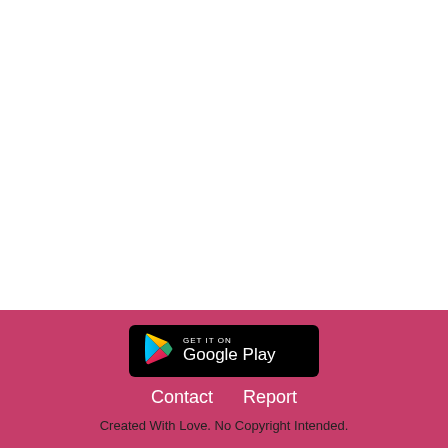[Figure (logo): Google Play Store badge button with play icon, black background, white text 'GET IT ON Google Play']
Contact   Report
Created With Love. No Copyright Intended.